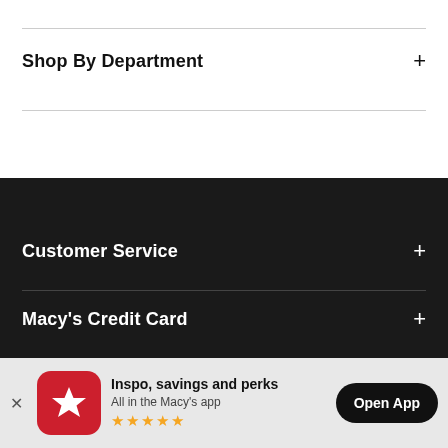Shop By Department
Customer Service
Macy's Credit Card
Stores & Services
[Figure (infographic): App download banner with Macy's star logo, 'Inspo, savings and perks / All in the Macy's app', five gold stars, and an 'Open App' button]